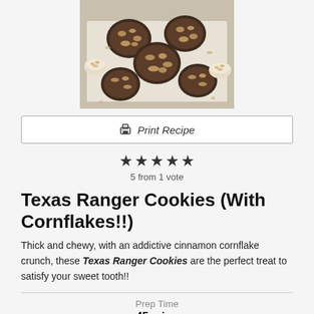[Figure (photo): Overhead photo of Texas Ranger Cookies with cornflakes on parchment paper, alongside small bowls of oats/cornflakes]
Print Recipe
5 from 1 vote
Texas Ranger Cookies (With Cornflakes!!)
Thick and chewy, with an addictive cinnamon cornflake crunch, these Texas Ranger Cookies are the perfect treat to satisfy your sweet tooth!!
Prep Time
45 mins